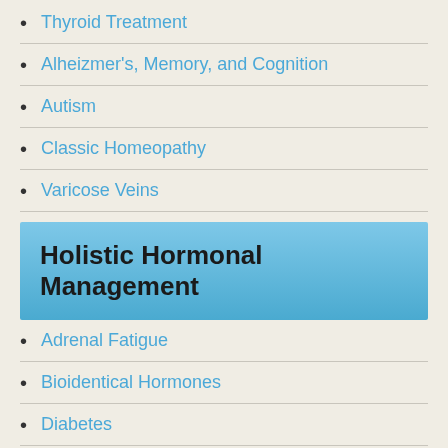Thyroid Treatment
Alheizmer's, Memory, and Cognition
Autism
Classic Homeopathy
Varicose Veins
Holistic Hormonal Management
Adrenal Fatigue
Bioidentical Hormones
Diabetes
Growth Hormone Deficiency
Hypothyroidism
Low Testosterone